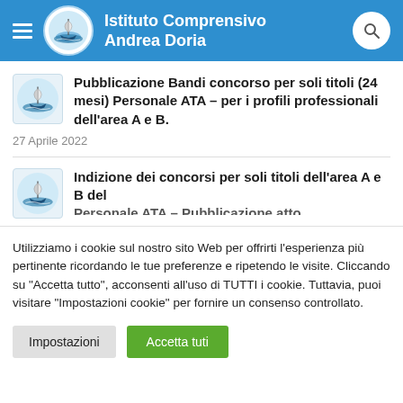Istituto Comprensivo Andrea Doria
Pubblicazione Bandi concorso per soli titoli (24 mesi) Personale ATA – per i profili professionali dell'area A e B.
27 Aprile 2022
Indizione dei concorsi per soli titoli dell'area A e B del Personale ATA – Pubblicazione atto ministeriale…
Utilizziamo i cookie sul nostro sito Web per offrirti l'esperienza più pertinente ricordando le tue preferenze e ripetendo le visite. Cliccando su "Accetta tutto", acconsenti all'uso di TUTTI i cookie. Tuttavia, puoi visitare "Impostazioni cookie" per fornire un consenso controllato.
Impostazioni
Accetta tuti